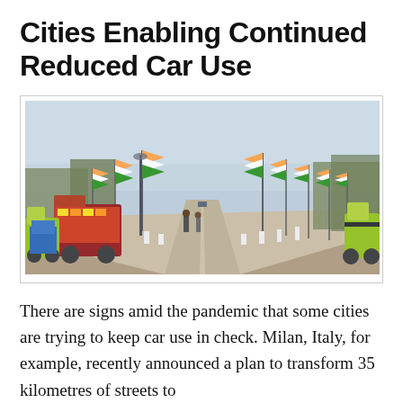Cities Enabling Continued Reduced Car Use
[Figure (photo): A wide boulevard in India lined with Indian national flags on tall poles on both sides. The road stretches to a vanishing point. On the left side are colorful vehicles including a decorated truck and yellow-green auto-rickshaws; on the right is a yellow-green auto-rickshaw. A few pedestrians walk on the road. Trees are visible in the background under a hazy blue-grey sky.]
There are signs amid the pandemic that some cities are trying to keep car use in check. Milan, Italy, for example, recently announced a plan to transform 35 kilometres of streets to